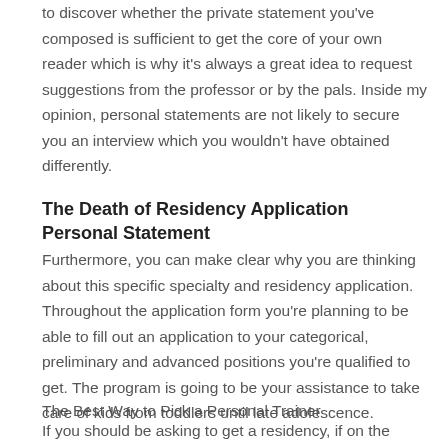to discover whether the private statement you've composed is sufficient to get the core of your own reader which is why it's always a great idea to request suggestions from the professor or by the pals. Inside my opinion, personal statements are not likely to secure you an interview which you wouldn't have obtained differently.
The Death of Residency Application Personal Statement
Furthermore, you can make clear why you are thinking about this specific specialty and residency application. Throughout the application form you're planning to be able to fill out an application to your categorical, preliminary and advanced positions you're qualified to get. The program is going to be your assistance to take care of kids from toddlers until late adolescence.
The Best Way to Pick a Personal Trainer
If you should be asking to get a residency, if on the